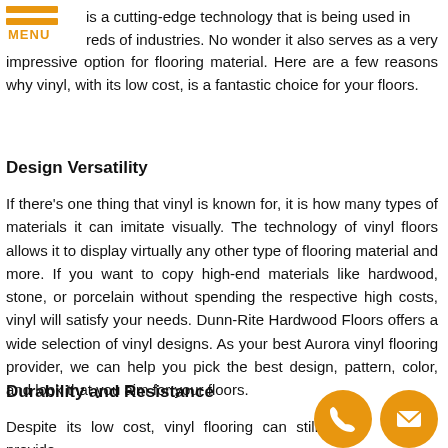MENU
is a cutting-edge technology that is being used in reds of industries. No wonder it also serves as a very impressive option for flooring material. Here are a few reasons why vinyl, with its low cost, is a fantastic choice for your floors.
Design Versatility
If there's one thing that vinyl is known for, it is how many types of materials it can imitate visually. The technology of vinyl floors allows it to display virtually any other type of flooring material and more. If you want to copy high-end materials like hardwood, stone, or porcelain without spending the respective high costs, vinyl will satisfy your needs. Dunn-Rite Hardwood Floors offers a wide selection of vinyl designs. As your best Aurora vinyl flooring provider, we can help you pick the best design, pattern, color, and look that you aim for your floors.
Durability and Resistance
Despite its low cost, vinyl flooring can still provide